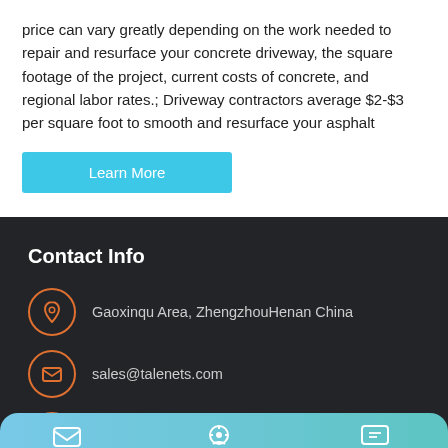price can vary greatly depending on the work needed to repair and resurface your concrete driveway, the square footage of the project, current costs of concrete, and regional labor rates.; Driveway contractors average $2-$3 per square foot to smooth and resurface your asphalt
Learn More
Contact Info
Gaoxinqu Area, ZhengzhouHenan China
sales@talenets.com
0086 371 60922006
MAIL | ADVISORY | OFFER